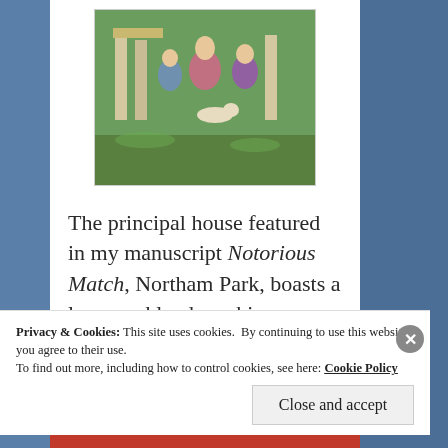[Figure (illustration): A painting showing figures in a classical landscape setting with columns, people in period costume, and a dog]
The principal house featured in my manuscript Notorious Match, Northam Park, boasts a large parkland reaching upwards of one thousand acres. Much of it was laid out by the eminent landscape architect
Privacy & Cookies: This site uses cookies. By continuing to use this website, you agree to their use.
To find out more, including how to control cookies, see here: Cookie Policy
Close and accept